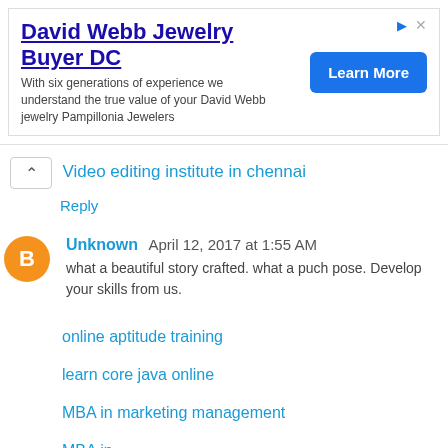[Figure (other): Advertisement banner for David Webb Jewelry Buyer DC with Learn More button]
Video editing institute in chennai
Reply
Unknown April 12, 2017 at 1:55 AM
what a beautiful story crafted. what a puch pose. Develop your skills from us.
online aptitude training
learn core java online
MBA in marketing management
MBA in...